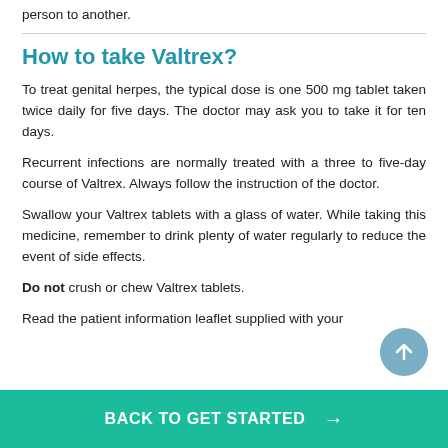person to another.
How to take Valtrex?
To treat genital herpes, the typical dose is one 500 mg tablet taken twice daily for five days. The doctor may ask you to take it for ten days.
Recurrent infections are normally treated with a three to five-day course of Valtrex. Always follow the instruction of the doctor.
Swallow your Valtrex tablets with a glass of water. While taking this medicine, remember to drink plenty of water regularly to reduce the event of side effects.
Do not crush or chew Valtrex tablets.
Read the patient information leaflet supplied with your
BACK TO GET STARTED →